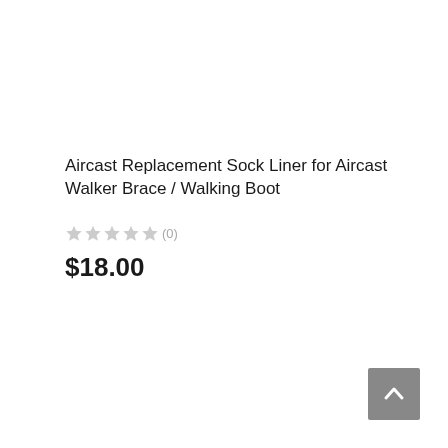Aircast Replacement Sock Liner for Aircast Walker Brace / Walking Boot
★★★★★(0)
$18.00
[Figure (other): Back to top button with upward chevron arrow icon]